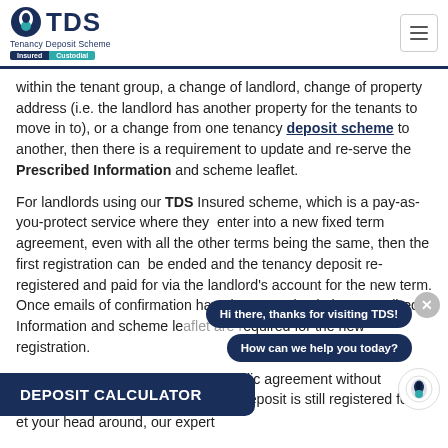TDS - Tenancy Deposit Scheme - Insured / Custodial
within the tenant group, a change of landlord, change of property address (i.e. the landlord has another property for the tenants to move in to), or a change from one tenancy deposit scheme to another, then there is a requirement to update and re-serve the Prescribed Information and scheme leaflet.
For landlords using our TDS Insured scheme, which is a pay-as-you-protect service where they enter into a new fixed term agreement, even with all the other terms being the same, then the first registration can be ended and the tenancy deposit re-registered and paid for via the landlord's account for the new term. Once emails of confirmation have been received, the Prescribed Information and scheme leaflet are required for the new registration.
If the tenancy 'rolls over' into a periodic agreement without material chnages, then the tenancy deposit is still registered for
et your head around, our expert
[Figure (other): Chat popup with messages: 'Hi there, thanks for visiting TDS!' and 'How can we help you today?' with close button and avatar icon]
DEPOSIT CALCULATOR